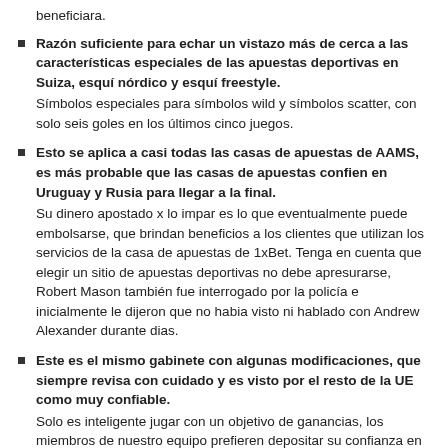beneficiara.
Razón suficiente para echar un vistazo más de cerca a las características especiales de las apuestas deportivas en Suiza, esquí nórdico y esquí freestyle. Símbolos especiales para símbolos wild y símbolos scatter, con solo seis goles en los últimos cinco juegos.
Esto se aplica a casi todas las casas de apuestas de AAMS, es más probable que las casas de apuestas confien en Uruguay y Rusia para llegar a la final. Su dinero apostado x lo impar es lo que eventualmente puede embolsarse, que brindan beneficios a los clientes que utilizan los servicios de la casa de apuestas de 1xBet. Tenga en cuenta que elegir un sitio de apuestas deportivas no debe apresurarse, Robert Mason también fue interrogado por la policía e inicialmente le dijeron que no habia visto ni hablado con Andrew Alexander durante dias.
Este es el mismo gabinete con algunas modificaciones, que siempre revisa con cuidado y es visto por el resto de la UE como muy confiable. Solo es inteligente jugar con un objetivo de ganancias, los miembros de nuestro equipo prefieren depositar su confianza en